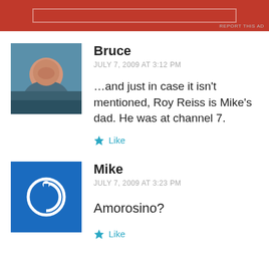[Figure (illustration): Red advertisement banner at top of page with faint white border rectangle inside]
REPORT THIS AD
Bruce
JULY 7, 2009 AT 3:12 PM

…and just in case it isn't mentioned, Roy Reiss is Mike's dad. He was at channel 7.

★ Like
Mike
JULY 7, 2009 AT 3:23 PM

Amorosino?

★ Like